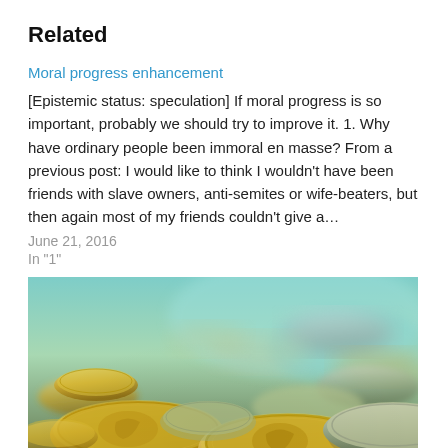Related
Moral progress enhancement
[Epistemic status: speculation] If moral progress is so important, probably we should try to improve it. 1. Why have ordinary people been immoral en masse? From a previous post: I would like to think I wouldn't have been friends with slave owners, anti-semites or wife-beaters, but then again most of my friends couldn't give a…
June 21, 2016
In "1"
[Figure (photo): Close-up photograph of a pile of various coins, including gold and silver coloured coins, with a blurred teal/green background.]